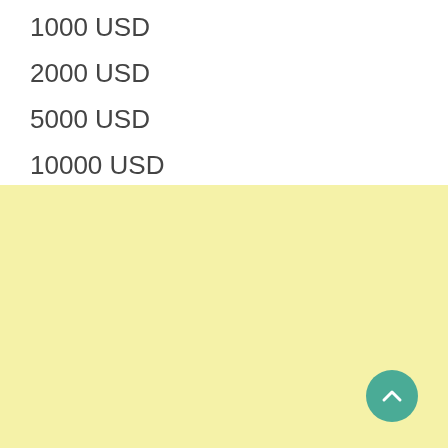1000 USD
2000 USD
5000 USD
10000 USD
[Figure (other): Teal circular scroll-to-top button with upward chevron arrow icon]